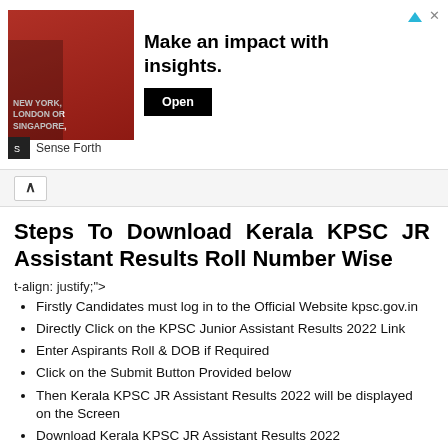[Figure (screenshot): Advertisement banner for Sense Forth showing a man with text 'New York, London or Singapore' and headline 'Make an impact with insights.' with an Open button.]
Steps To Download Kerala KPSC JR Assistant Results Roll Number Wise
t-align: justify;">
Firstly Candidates must log in to the Official Website kpsc.gov.in
Directly Click on the KPSC Junior Assistant Results 2022 Link
Enter Aspirants Roll & DOB if Required
Click on the Submit Button Provided below
Then Kerala KPSC JR Assistant Results 2022 will be displayed on the Screen
Download Kerala KPSC JR Assistant Results 2022
Take a print out for the Future Reference purpose
Important Links To Download KPSC JA